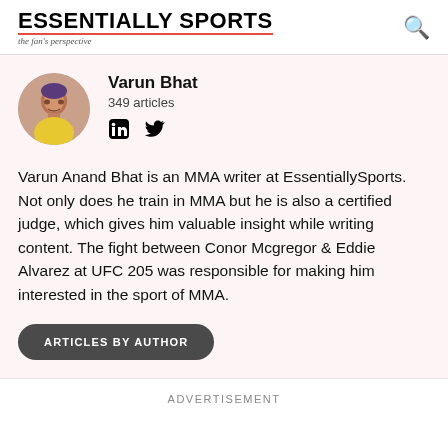ESSENTIALLY SPORTS — the fan's perspective
[Figure (photo): Circular profile photo of Varun Bhat, a man in a yellow shirt]
Varun Bhat
349 articles
[Figure (infographic): LinkedIn and Twitter social media icons]
Varun Anand Bhat is an MMA writer at EssentiallySports. Not only does he train in MMA but he is also a certified judge, which gives him valuable insight while writing content. The fight between Conor Mcgregor & Eddie Alvarez at UFC 205 was responsible for making him interested in the sport of MMA.
ARTICLES BY AUTHOR
ADVERTISEMENT